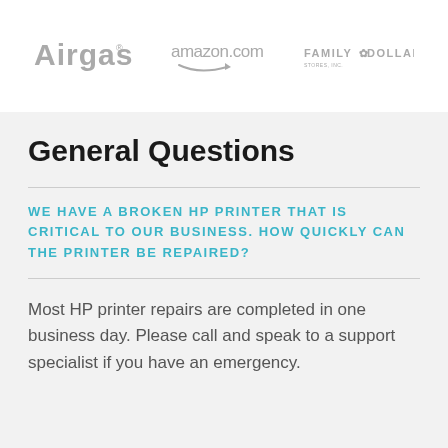[Figure (logo): Airgas logo in gray]
[Figure (logo): amazon.com logo in gray with smile arrow]
[Figure (logo): Family Dollar logo in gray]
General Questions
WE HAVE A BROKEN HP PRINTER THAT IS CRITICAL TO OUR BUSINESS. HOW QUICKLY CAN THE PRINTER BE REPAIRED?
Most HP printer repairs are completed in one business day. Please call and speak to a support specialist if you have an emergency.